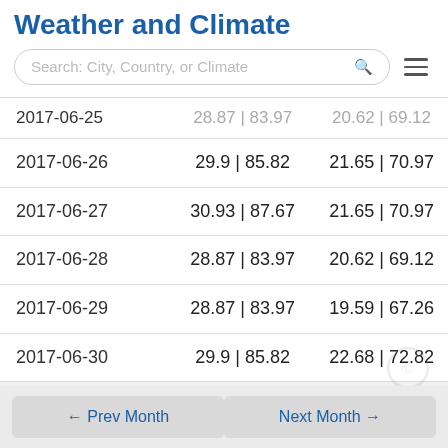Weather and Climate
Search: City, Country, or Climate
| Date | Max Temp | Min Temp |
| --- | --- | --- |
| 2017-06-25 | 28.87 | 83.97 | 20.62 | 69.12 |
| 2017-06-26 | 29.9 | 85.82 | 21.65 | 70.97 |
| 2017-06-27 | 30.93 | 87.67 | 21.65 | 70.97 |
| 2017-06-28 | 28.87 | 83.97 | 20.62 | 69.12 |
| 2017-06-29 | 28.87 | 83.97 | 19.59 | 67.26 |
| 2017-06-30 | 29.9 | 85.82 | 22.68 | 72.82 |
← Prev Month
Next Month →